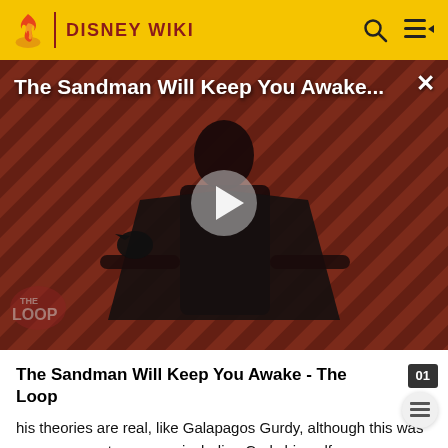DISNEY WIKI
[Figure (screenshot): Video thumbnail for 'The Sandman Will Keep You Awake...' showing a man in a black cape against a red and black diagonal striped background, with a play button in the center and 'THE LOOP' watermark in the lower left.]
The Sandman Will Keep You Awake - The Loop
his theories are real, like Galapagos Gurdy, although this was never proven to anyone, including Cody himself.
Though he expresses a wish to be the first doctor-lawyer